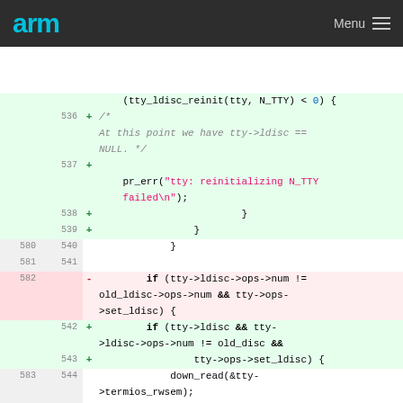arm   Menu
[Figure (screenshot): Code diff view showing lines 536-545/580-584. Added lines (green background) include: (tty_ldisc_reinit(tty, N_TTY) < 0) { /* At this point we have tty->ldisc == NULL. */ pr_err("tty: reinitializing N_TTY failed\n"); } } }. Deleted line (red background, line 582): - if (tty->ldisc->ops->num != old_ldisc->ops->num && tty->ops->set_ldisc) {. Added lines 542-543: + if (tty->ldisc && tty->ldisc->ops->num != old_disc && + tty->ops->set_ldisc) {. Context lines 583-584/544-545: down_read(&tty->termios_rwsem); tty->ops-]